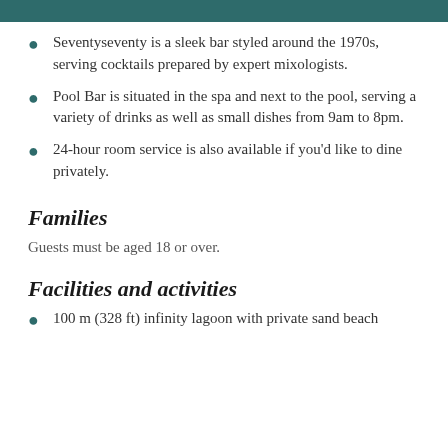Seventyseventy is a sleek bar styled around the 1970s, serving cocktails prepared by expert mixologists.
Pool Bar is situated in the spa and next to the pool, serving a variety of drinks as well as small dishes from 9am to 8pm.
24-hour room service is also available if you'd like to dine privately.
Families
Guests must be aged 18 or over.
Facilities and activities
100 m (328 ft) infinity lagoon with private sand beach